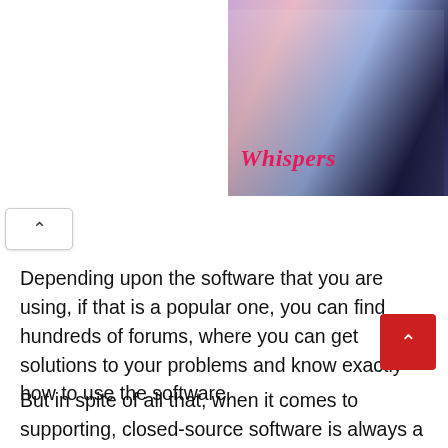[Figure (screenshot): Game advertisement image showing the title 'Whispers' in pink italic font with romantic scene characters in the background]
Depending upon the software that you are using, if that is a popular one, you can find hundreds of forums, where you can get solutions to your problems and know exactly how to use the software.
But in spite of all that, when it comes to supporting, closed-source software is always a notch ahead to that of open-source software. You might also need to go through additional training to know how to use certain open-source software and that will also